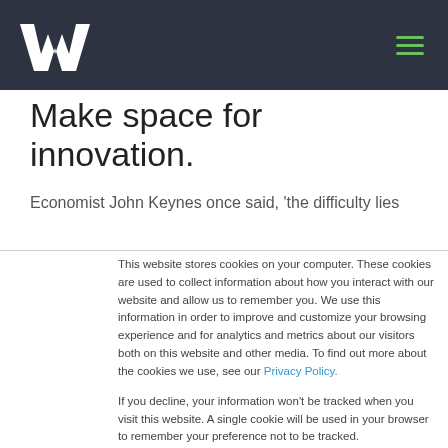[Navigation bar with logo and hamburger menu]
Make space for innovation.
Economist John Keynes once said, 'the difficulty lies
This website stores cookies on your computer. These cookies are used to collect information about how you interact with our website and allow us to remember you. We use this information in order to improve and customize your browsing experience and for analytics and metrics about our visitors both on this website and other media. To find out more about the cookies we use, see our Privacy Policy.
If you decline, your information won't be tracked when you visit this website. A single cookie will be used in your browser to remember your preference not to be tracked.